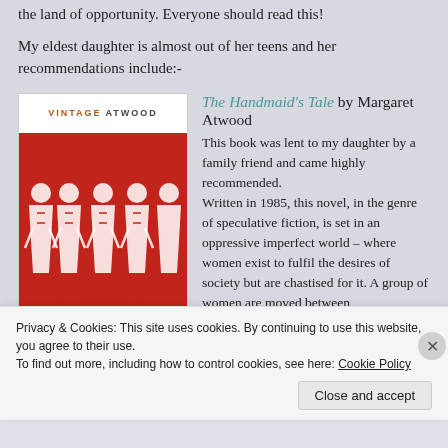the land of opportunity. Everyone should read this!
My eldest daughter is almost out of her teens and her recommendations include:-
[Figure (illustration): Book cover of The Handmaid's Tale – Vintage Atwood edition, showing silhouetted figures of women in red robes arranged in a row against a red background, with the title 'THE HANDMAID'S TALE' in red text]
The Handmaid's Tale by Margaret Atwood
This book was lent to my daughter by a family friend and came highly recommended.
Written in 1985, this novel, in the genre of speculative fiction, is set in an oppressive imperfect world – where women exist to fulfil the desires of society but are chastised for it. A group of women are moved between
Privacy & Cookies: This site uses cookies. By continuing to use this website, you agree to their use.
To find out more, including how to control cookies, see here: Cookie Policy
Close and accept